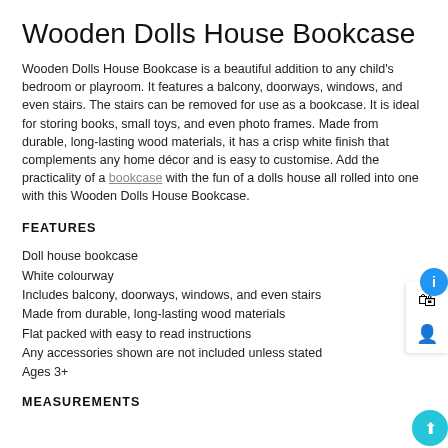Wooden Dolls House Bookcase
Wooden Dolls House Bookcase is a beautiful addition to any child's bedroom or playroom. It features a balcony, doorways, windows, and even stairs. The stairs can be removed for use as a bookcase. It is ideal for storing books, small toys, and even photo frames. Made from durable, long-lasting wood materials, it has a crisp white finish that complements any home décor and is easy to customise. Add the practicality of a bookcase with the fun of a dolls house all rolled into one with this Wooden Dolls House Bookcase.
FEATURES
Doll house bookcase
White colourway
Includes balcony, doorways, windows, and even stairs
Made from durable, long-lasting wood materials
Flat packed with easy to read instructions
Any accessories shown are not included unless stated
Ages 3+
MEASUREMENTS